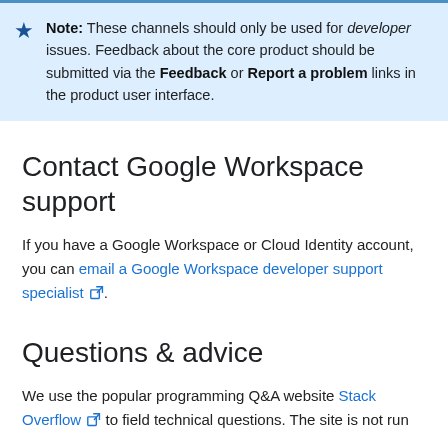Note: These channels should only be used for developer issues. Feedback about the core product should be submitted via the Feedback or Report a problem links in the product user interface.
Contact Google Workspace support
If you have a Google Workspace or Cloud Identity account, you can email a Google Workspace developer support specialist.
Questions & advice
We use the popular programming Q&A website Stack Overflow to field technical questions. The site is not run